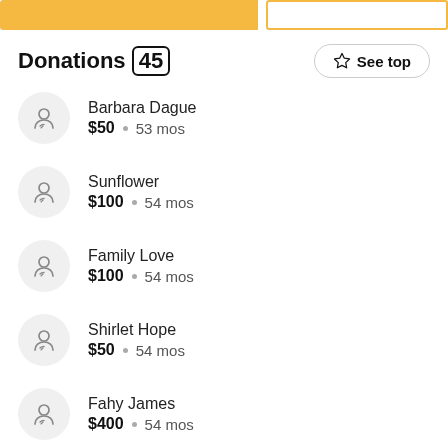Donations (45)
Barbara Dague • $50 • 53 mos
Sunflower • $100 • 54 mos
Family Love • $100 • 54 mos
Shirlet Hope • $50 • 54 mos
Fahy James • $400 • 54 mos